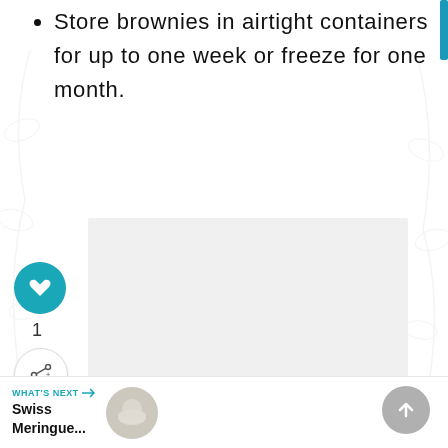Store brownies in airtight containers for up to one week or freeze for one month.
[Figure (photo): Grey placeholder image area for a brownie or recipe photo]
[Figure (infographic): Social interaction buttons: heart/like button (teal circle), count of 1, share button (white circle with share icon)]
1
WHAT'S NEXT → Swiss Meringue...